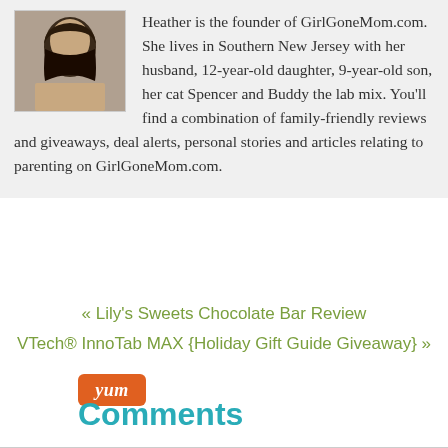[Figure (photo): Portrait photo of Heather, a woman with long dark hair]
Heather is the founder of GirlGoneMom.com. She lives in Southern New Jersey with her husband, 12-year-old daughter, 9-year-old son, her cat Spencer and Buddy the lab mix. You'll find a combination of family-friendly reviews and giveaways, deal alerts, personal stories and articles relating to parenting on GirlGoneMom.com.
« Lily's Sweets Chocolate Bar Review
VTech® InnoTab MAX {Holiday Gift Guide Giveaway} »
[Figure (logo): Yum button/badge in orange with italic 'yum' text]
Comments